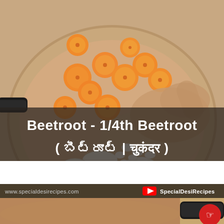[Figure (photo): Top-down view of a frying pan with sliced carrots, chopped onions, and garlic being stirred by a hand. The pan has a dark handle on the left. Below the cooking image is a dark semi-transparent text overlay showing the ingredient name in English and Telugu/Hindi scripts: 'Beetroot - 1/4th Beetroot (బీట్రూట్ | चुकंदर)'.]
[Figure (screenshot): Screenshot of a cooking video thumbnail or website showing a pan with brownish liquid/broth, with the URL 'www.specialdesirecipes.com' and a YouTube button with text 'SpecialDesiRecipes' in the top bar. A red circular button with a cursor icon is visible in the bottom right.]